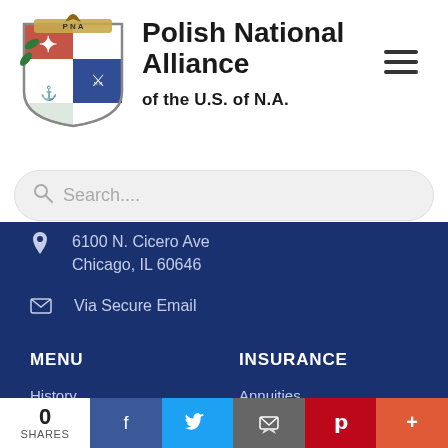[Figure (logo): Polish National Alliance coat of arms shield logo with eagle and knight]
Polish National Alliance
of the U.S. of N.A.
Search...
6100 N. Cicero Ave
Chicago, IL 60646
Via Secure Email
MENU
History
Administration
Careers
INSURANCE
Annuities
Single Premium
Term Plans
0 SHARES